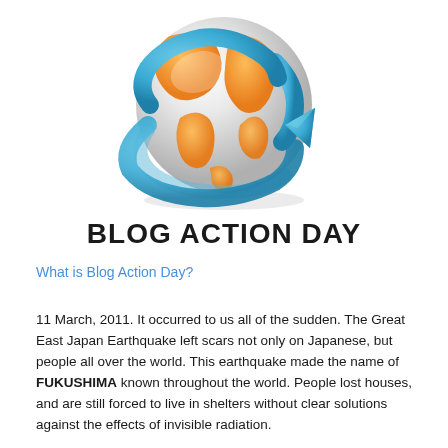[Figure (illustration): Globe with orange landmasses and blue arrow wrapping around it, with BLOG ACTION DAY text below]
BLOG ACTION DAY
What is Blog Action Day?
11 March, 2011. It occurred to us all of the sudden. The Great East Japan Earthquake left scars not only on Japanese, but people all over the world. This earthquake made the name of FUKUSHIMA known throughout the world. People lost houses, and are still forced to live in shelters without clear solutions against the effects of invisible radiation. To the next sentence continues below.